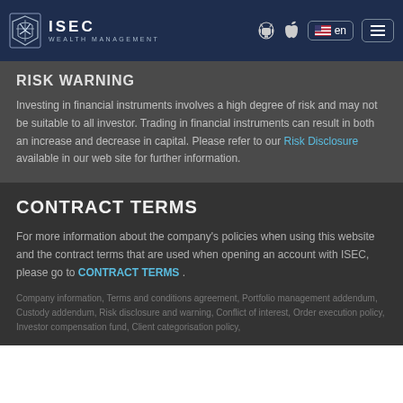ISEC WEALTH MANAGEMENT
RISK WARNING
Investing in financial instruments involves a high degree of risk and may not be suitable to all investor. Trading in financial instruments can result in both an increase and decrease in capital. Please refer to our Risk Disclosure available in our web site for further information.
CONTRACT TERMS
For more information about the company's policies when using this website and the contract terms that are used when opening an account with ISEC, please go to CONTRACT TERMS .
Company information, Terms and conditions agreement, Portfolio management addendum, Custody addendum, Risk disclosure and warning, Conflict of interest, Order execution policy, Investor compensation fund, Client categorisation policy,